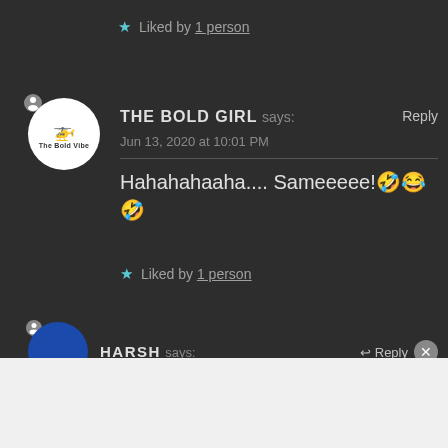★ Liked by 1 person
[Figure (other): User avatar circle with helicopter logo and text 'The Bold Vibe']
THE BOLD GIRL says: Reply
Jun 13, 2020 at 10:01 PM
Hahahahaaha.... Sameeeee!🤣😂🤣
★ Liked by 1 person
HARSH says: Reply
Advertisements
AUTOMATTIC
Build a better web and a better world.